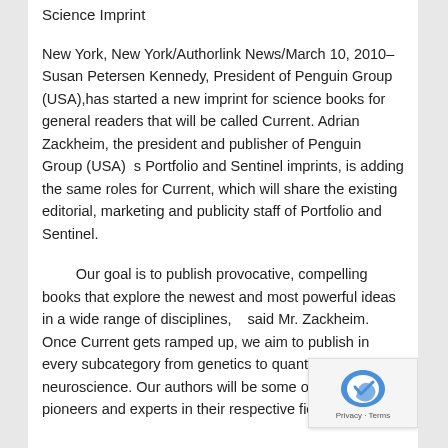Science Imprint
New York, New York/Authorlink News/March 10, 2010–Susan Petersen Kennedy, President of Penguin Group (USA),has started a new imprint for science books for general readers that will be called Current. Adrian Zackheim, the president and publisher of Penguin Group (USA)  s Portfolio and Sentinel imprints, is adding the same roles for Current, which will share the existing editorial, marketing and publicity staff of Portfolio and Sentinel.
Our goal is to publish provocative, compelling books that explore the newest and most powerful ideas in a wide range of disciplines,   said Mr. Zackheim.    Once Current gets ramped up, we aim to publish in every subcategory from genetics to quantum physics to neuroscience. Our authors will be some of the foremost pioneers and experts in their respective fields.